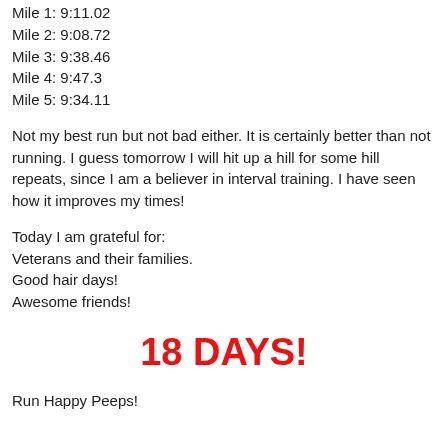Mile 1: 9:11.02
Mile 2: 9:08.72
Mile 3: 9:38.46
Mile 4: 9:47.3
Mile 5: 9:34.11
Not my best run but not bad either. It is certainly better than not running. I guess tomorrow I will hit up a hill for some hill repeats, since I am a believer in interval training. I have seen how it improves my times!
Today I am grateful for:
Veterans and their families.
Good hair days!
Awesome friends!
18 DAYS!
Run Happy Peeps!